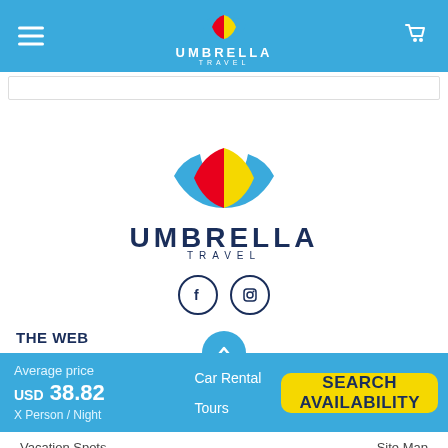[Figure (logo): Umbrella Travel logo in header bar with hamburger menu and cart icon]
[Figure (logo): Umbrella Travel logo (umbrella icon with red, yellow, blue panels) with brand name UMBRELLA TRAVEL and social icons (Facebook, Instagram)]
THE WEB
Average price
USD 38.82
X Person / Night
Car Rental
Tours
SEARCH AVAILABILITY
Vacation Spots
Site Map